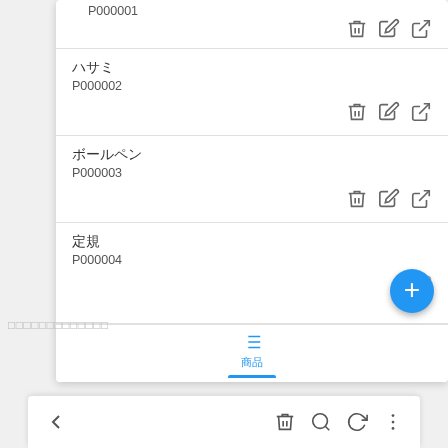[Figure (screenshot): Mobile app screenshot showing a product list with items ハサミ (P000002), ボールペン (P000003), 定規 (P000004), each with delete/edit/open icons, a blue FAB plus button, and a bottom tab bar showing 商品 tab selected with blue indicator.]
□□□□□□□□□□□□□
[Figure (screenshot): Partial bottom navigation bar showing back arrow, trash/delete icon, search icon, refresh icon, and three-dot menu icon.]